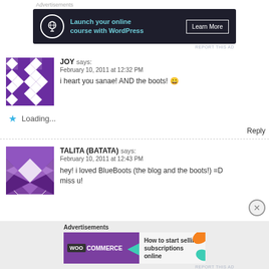Advertisements
[Figure (screenshot): Dark advertisement banner: 'Launch your online course with WordPress' with Learn More button]
REPORT THIS AD
JOY says: February 10, 2011 at 12:32 PM
i heart you sanae! AND the boots! 😀
Loading...
Reply
TALITA (BATATA) says: February 10, 2011 at 12:43 PM
hey! i loved BlueBoots (the blog and the boots!) =D miss u!
Advertisements
[Figure (screenshot): WooCommerce advertisement: 'How to start selling subscriptions online']